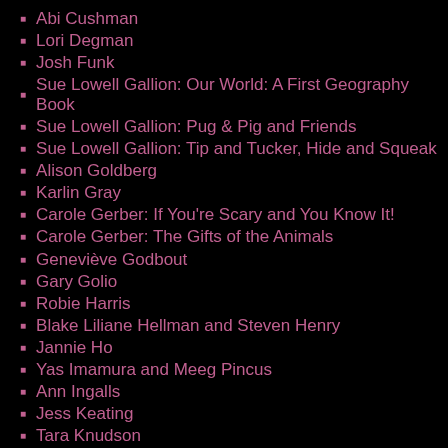Abi Cushman
Lori Degman
Josh Funk
Sue Lowell Gallion: Our World: A First Geography Book
Sue Lowell Gallion: Pug & Pig and Friends
Sue Lowell Gallion: Tip and Tucker, Hide and Squeak
Alison Goldberg
Karlin Gray
Carole Gerber: If You're Scary and You Know It!
Carole Gerber: The Gifts of the Animals
Geneviève Godbout
Gary Golio
Robie Harris
Blake Liliane Hellman and Steven Henry
Jannie Ho
Yas Imamura and Meeg Pincus
Ann Ingalls
Jess Keating
Tara Knudson
Jackie Azúa Kramer
Sarah Kurpiel
Heather Lang: The Leaf Detective
Heather Lang: Queen of the Track